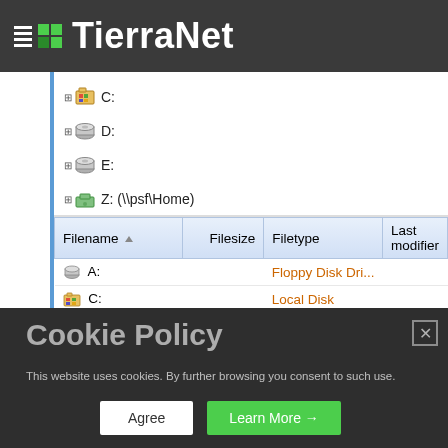TierraNet
[Figure (screenshot): File explorer tree showing drives C:, D:, E:, Z: (\\psf\Home) with expand icons]
| Filename | Filesize | Filetype | Last modified |
| --- | --- | --- | --- |
| A: |  | Floppy Disk Dri... |  |
| C: |  | Local Disk |  |
| D: |  | CD Drive |  |
Cookie Policy
This website uses cookies. By further browsing you consent to such use.
Agree   Learn More →